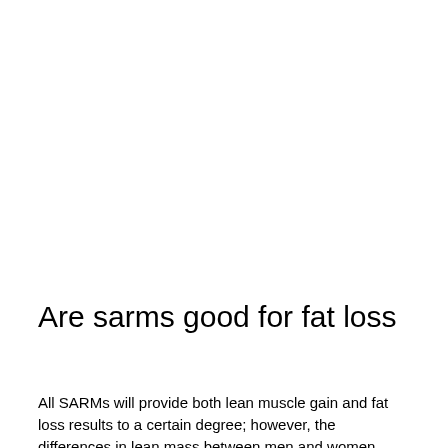Are sarms good for fat loss
All SARMs will provide both lean muscle gain and fat loss results to a certain degree; however, the differences in lean mass between men and women may influence the